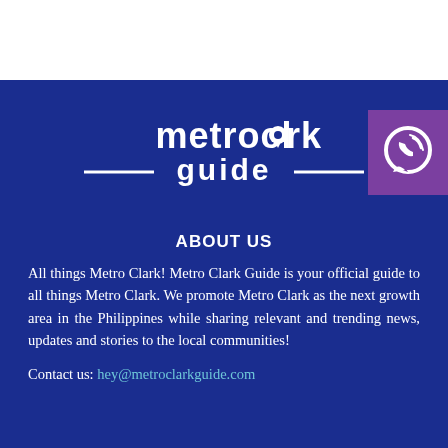[Figure (logo): Metro Clark Guide logo on white background at top]
[Figure (logo): MetroClark guide logo with location pin icon and dashes, white text on dark blue]
[Figure (logo): Viber icon badge in purple square at top right]
ABOUT US
All things Metro Clark! Metro Clark Guide is your official guide to all things Metro Clark. We promote Metro Clark as the next growth area in the Philippines while sharing relevant and trending news, updates and stories to the local communities!
Contact us: hey@metroclarkguide.com